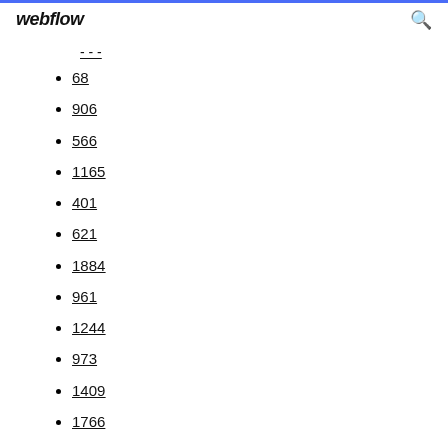webflow
---
68
906
566
1165
401
621
1884
961
1244
973
1409
1766